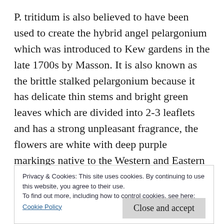P. tritidum is also believed to have been used to create the hybrid angel pelargonium which was introduced to Kew gardens in the late 1700s by Masson. It is also known as the brittle stalked pelargonium because it has delicate thin stems and bright green leaves which are divided into 2-3 leaflets and has a strong unpleasant fragrance, the flowers are white with deep purple markings native to the Western and Eastern Cape.
The angel pelargonium “hybrid”Henry Weller” which
Privacy & Cookies: This site uses cookies. By continuing to use this website, you agree to their use.
To find out more, including how to control cookies, see here:
Cookie Policy
Close and accept
native to coastal areas of South Africa and also further